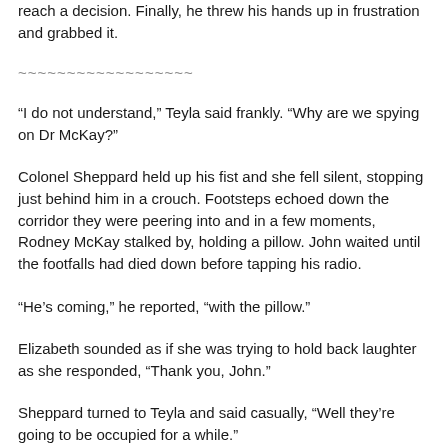reach a decision. Finally, he threw his hands up in frustration and grabbed it.
~~~~~~~~~~~~~~~~~~
“I do not understand,” Teyla said frankly. “Why are we spying on Dr McKay?”
Colonel Sheppard held up his fist and she fell silent, stopping just behind him in a crouch. Footsteps echoed down the corridor they were peering into and in a few moments, Rodney McKay stalked by, holding a pillow. John waited until the footfalls had died down before tapping his radio.
“He’s coming,” he reported, “with the pillow.”
Elizabeth sounded as if she was trying to hold back laughter as she responded, “Thank you, John.”
Sheppard turned to Teyla and said casually, “Well they’re going to be occupied for a while.”